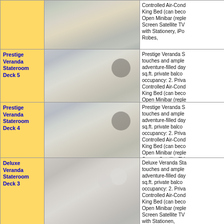| Room | Image | Description |
| --- | --- | --- |
| (continuation) | (photo) | Controlled Air-Cond King Bed (can beco Open Minibar (reple Screen Satellite TV with Stationery, iPo Robes, |
| Prestige Veranda Stateroom Deck 5 | (photo) | Prestige Veranda S touches and ample adventure-filled day sq.ft. private balco occupancy: 2. Priva Controlled Air-Cond King Bed (can beco Open Minibar (reple Screen Satellite TV with Stationery, iPo Robes, |
| Prestige Veranda Stateroom Deck 4 | (photo) | Prestige Veranda S touches and ample adventure-filled day sq.ft. private balco occupancy: 2. Priva Controlled Air-Cond King Bed (can beco Open Minibar (reple Screen Satellite TV with Stationery, iPo Robes, |
| Deluxe Veranda Stateroom Deck 3 | (photo) | Deluxe Veranda Sta touches and ample adventure-filled day sq.ft. private balco occupancy: 2. Priva Controlled Air-Cond King Bed (can beco Open Minibar (reple Screen Satellite TV with Stationen, |